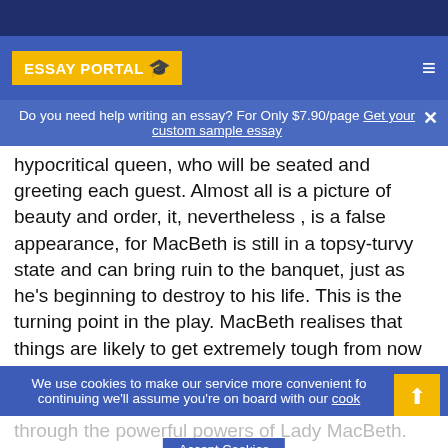ESSAY PORTAL
Do you need help writing an essay? For Only $7.90/page Get your custom sample essay
hypocritical queen, who will be seated and greeting each guest. Almost all is a picture of beauty and order, it, nevertheless , is a false appearance, for MacBeth is still in a topsy-turvy state and can bring ruin to the banquet, just as he's beginning to destroy to his life. This is the turning point in the play. MacBeth realises that things are likely to get extremely tough from now on. He anxieties for his own safety, but also worries about the immorality of
We use cookies to make our service more convenient fo continuing we'll assume you're on board with our cook
through the powerful powers of Lady MacBeth. Now he has had B... was almost